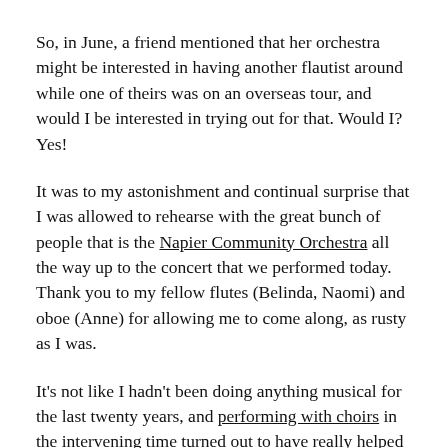So, in June, a friend mentioned that her orchestra might be interested in having another flautist around while one of theirs was on an overseas tour, and would I be interested in trying out for that. Would I? Yes!
It was to my astonishment and continual surprise that I was allowed to rehearse with the great bunch of people that is the Napier Community Orchestra all the way up to the concert that we performed today. Thank you to my fellow flutes (Belinda, Naomi) and oboe (Anne) for allowing me to come along, as rusty as I was.
It's not like I hadn't been doing anything musical for the last twenty years, and performing with choirs in the intervening time turned out to have really helped my sight-reading. Also, never underestimate